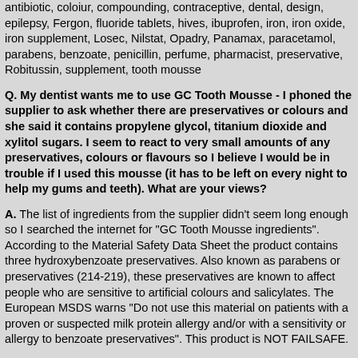antibiotic, coloiur, compounding, contraceptive, dental, design, epilepsy, Fergon, fluoride tablets, hives, ibuprofen, iron, iron oxide, iron supplement, Losec, Nilstat, Opadry, Panamax, paracetamol, parabens, benzoate, penicillin, perfume, pharmacist, preservative, Robitussin, supplement, tooth mousse
Q. My dentist wants me to use GC Tooth Mousse - I phoned the supplier to ask whether there are preservatives or colours and she said it contains propylene glycol, titanium dioxide and xylitol sugars. I seem to react to very small amounts of any preservatives, colours or flavours so I believe I would be in trouble if I used this mousse (it has to be left on every night to help my gums and teeth). What are your views?
A. The list of ingredients from the supplier didn't seem long enough so I searched the internet for "GC Tooth Mousse ingredients". According to the Material Safety Data Sheet the product contains three hydroxybenzoate preservatives. Also known as parabens or preservatives (214-219), these preservatives are known to affect people who are sensitive to artificial colours and salicylates. The European MSDS warns "Do not use this material on patients with a proven or suspected milk protein allergy and/or with a sensitivity or allergy to benzoate preservatives". This product is NOT FAILSAFE.
Feedback: 'Well I have tried the "plain" GC Tooth Mousse three times and have reacted each time with the usual symptoms. It appears to stay in my system for two days. I react with insomnia, then my body gets "the jumps". I have even gone back to having the jumps in my legs and arms during the